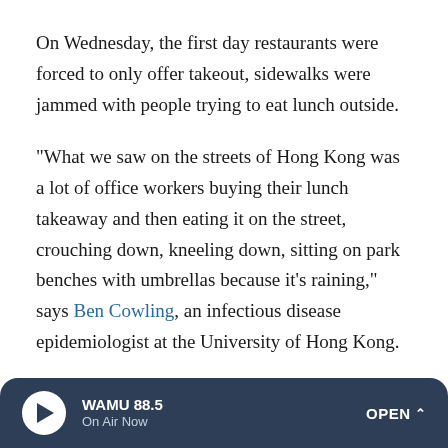On Wednesday, the first day restaurants were forced to only offer takeout, sidewalks were jammed with people trying to eat lunch outside.
"What we saw on the streets of Hong Kong was a lot of office workers buying their lunch takeaway and then eating it on the street, crouching down, kneeling down, sitting on park benches with umbrellas because it's raining," says Ben Cowling, an infectious disease epidemiologist at the University of Hong Kong.
"It made Hong Kong seem like it was a different country to what we're used to. We don't normally see people crouching down eating their lunch outside. So it's kind of strange to see
WAMU 88.5 · On Air Now · OPEN